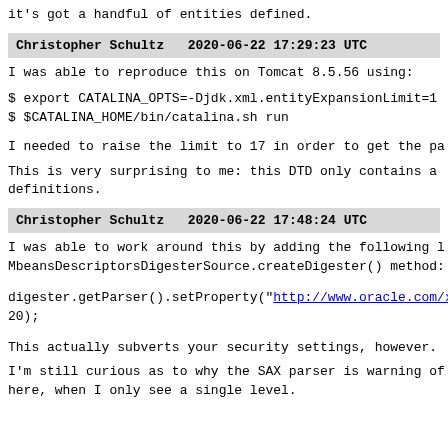it's got a handful of entities defined.
Christopher Schultz   2020-06-22 17:29:23 UTC
I was able to reproduce this on Tomcat 8.5.56 using:
$ export CATALINA_OPTS=-Djdk.xml.entityExpansionLimit=1
$ $CATALINA_HOME/bin/catalina.sh run
I needed to raise the limit to 17 in order to get the pa
This is very surprising to me: this DTD only contains a definitions.
Christopher Schultz   2020-06-22 17:48:24 UTC
I was able to work around this by adding the following l MbeansDescriptorsDigesterSource.createDigester() method:
digester.getParser().setProperty("http://www.oracle.com/xm 20);
This actually subverts your security settings, however.
I'm still curious as to why the SAX parser is warning of here, when I only see a single level.